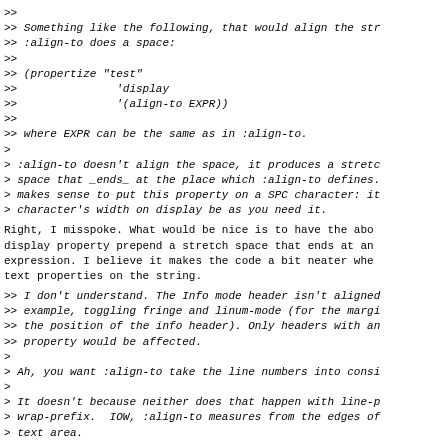>>
>> Something like the following, that would align the str
>> :align-to does a space:
>>
>> (propertize "test"
>>               'display
>>               '(align-to EXPR))
>>
>> where EXPR can be the same as in :align-to.
>
> :align-to doesn't align the space, it produces a stretc
> space that _ends_ at the place which :align-to defines.
> makes sense to put this property on a SPC character: it
> character's width on display be as you need it.
Right, I misspoke. What would be nice is to have the abo
display property prepend a stretch space that ends at an
expression. I believe it makes the code a bit neater whe
text properties on the string.
>> I don't understand. The Info mode header isn't aligned
>> example, toggling fringe and linum-mode (for the margi
>> the position of the info header). Only headers with an
>> property would be affected.
>
> Ah, you want :align-to take the line numbers into consi
>
> It doesn't because neither does that happen with line-p
> wrap-prefix.  IOW, :align-to measures from the edges of
> text area.